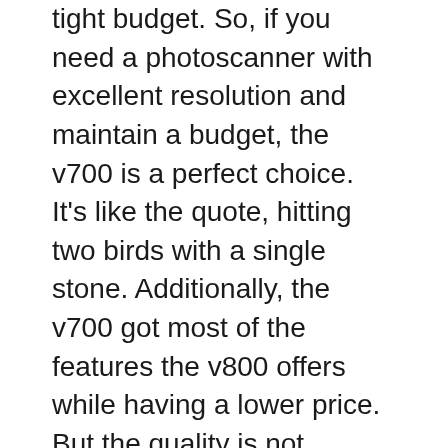tight budget. So, if you need a photoscanner with excellent resolution and maintain a budget, the v700 is a perfect choice. It's like the quote, hitting two birds with a single stone. Additionally, the v700 got most of the features the v800 offers while having a lower price. But the quality is not subpar with the v800.
The v800 has a higher price tag than the v700. The v800 is a newer model and came out after v700. It contains the price tag as it's more contemporary. But the price is not overcharged, because your v800 offers you amazing resolution photographs. From superb shadow details to smooth graduations, the v800 provides all of it. Also, the user will get accurate color and details when they scan their desired photograph. Also, it natively